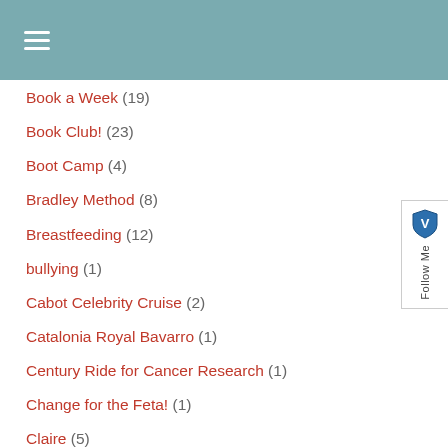≡
Book a Week (19)
Book Club! (23)
Boot Camp (4)
Bradley Method (8)
Breastfeeding (12)
bullying (1)
Cabot Celebrity Cruise (2)
Catalonia Royal Bavarro (1)
Century Ride for Cancer Research (1)
Change for the Feta! (1)
Claire (5)
Clean One Thing a Week (1)
Cooking How-To's (1)
Couch to 5k (2)